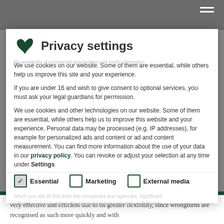[Figure (screenshot): Website header with logo partially visible and hamburger menu icon in top right, shown behind modal overlay]
Privacy settings
We use cookies on our website. Some of them are essential, while others help us improve this site and your experience.
If you are under 16 and wish to give consent to optional services, you must ask your legal guardians for permission.
We use cookies and other technologies on our website. Some of them are essential, while others help us to improve this website and your experience. Personal data may be processed (e.g. IP addresses), for example for personalized ads and content or ad and content measurement. You can find more information about the use of your data in our privacy policy. You can revoke or adjust your selection at any time under Settings.
Essential (checked)
Marketing (unchecked)
External media (unchecked)
very effective and efficient due to its greater flexibility, since wrongturns are recognised as such more quickly and with